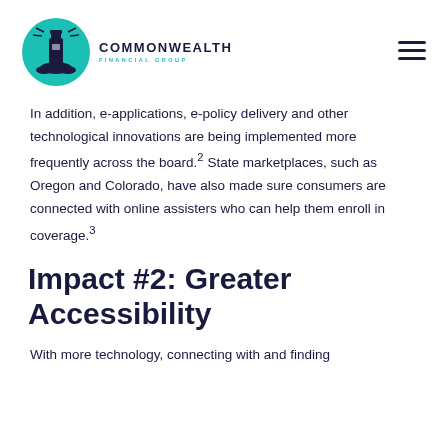[Figure (logo): Commonwealth Financial Group logo with lighthouse icon and teal circle]
In addition, e-applications, e-policy delivery and other technological innovations are being implemented more frequently across the board.² State marketplaces, such as Oregon and Colorado, have also made sure consumers are connected with online assisters who can help them enroll in coverage.³
Impact #2: Greater Accessibility
With more technology, connecting with and finding